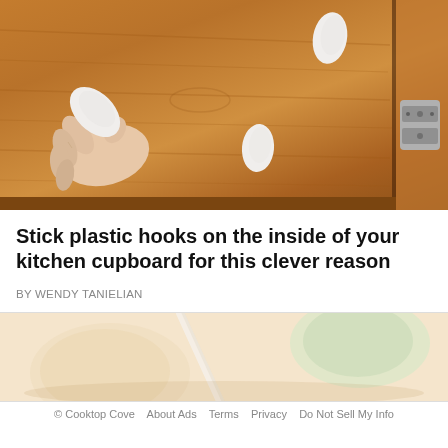[Figure (photo): A hand holding a white plastic hook/clasp near the inside of a wooden kitchen cupboard door. Two other white plastic hooks are visible on the wood surface. A metal cabinet hinge is visible on the right side.]
Stick plastic hooks on the inside of your kitchen cupboard for this clever reason
BY WENDY TANIELIAN
[Figure (photo): Close-up of what appears to be food items on a light-colored surface, including what looks like sliced or peeled fruit/vegetable and a stick.]
© Cooktop Cove   About Ads   Terms   Privacy   Do Not Sell My Info